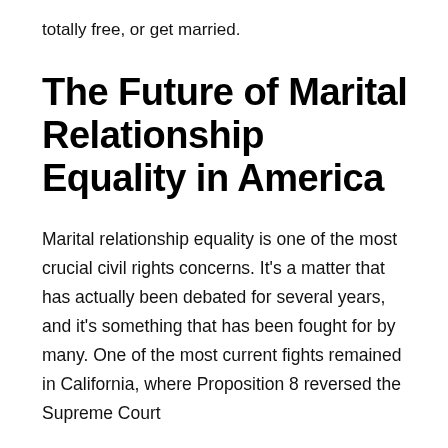totally free, or get married.
The Future of Marital Relationship Equality in America
Marital relationship equality is one of the most crucial civil rights concerns. It's a matter that has actually been debated for several years, and it's something that has been fought for by many. One of the most current fights remained in California, where Proposition 8 reversed the Supreme Court